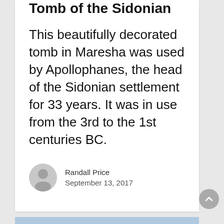Tomb of the Sidonian
This beautifully decorated tomb in Maresha was used by Apollophanes, the head of the Sidonian settlement for 33 years. It was in use from the 3rd to the 1st centuries BC.
Randall Price
September 13, 2017